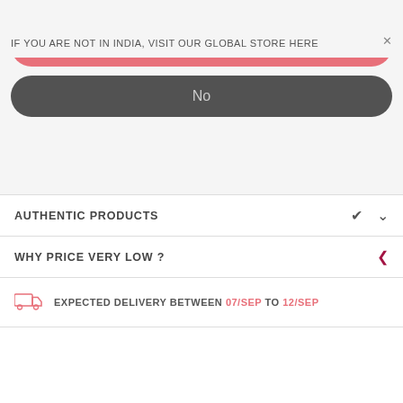IF YOU ARE NOT IN INDIA, VISIT OUR GLOBAL STORE HERE
Yes
No
AUTHENTIC PRODUCTS
WHY PRICE VERY LOW ?
EXPECTED DELIVERY BETWEEN 07/SEP TO 12/SEP
REVIEWS
Description
Saree  Blouse  Product Care